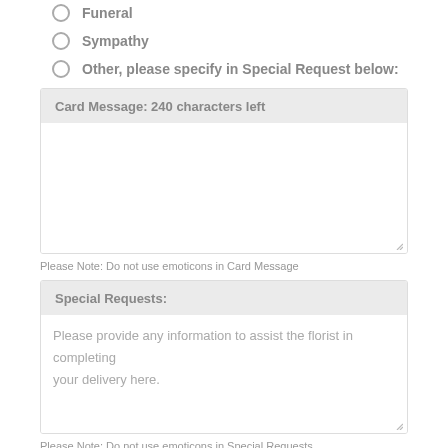Funeral
Sympathy
Other, please specify in Special Request below:
Card Message: 240 characters left
Please Note: Do not use emoticons in Card Message
Special Requests:
Please provide any information to assist the florist in completing your delivery here.
Please Note: Do not use emoticons in Special Requests